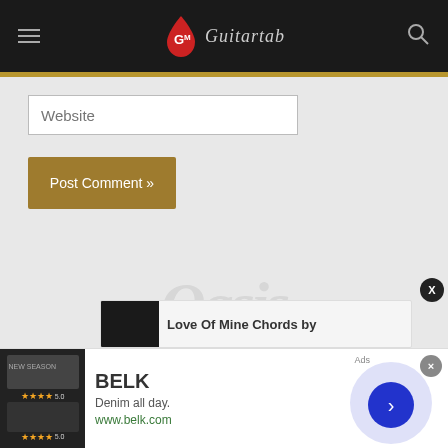Guitar tab website navigation bar with logo and search icon
Website
Post Comment »
[Figure (screenshot): Love Of Mine Chords popup card with dark thumbnail]
[Figure (infographic): BELK advertisement banner: Denim all day. www.belk.com with clothing images and close button]